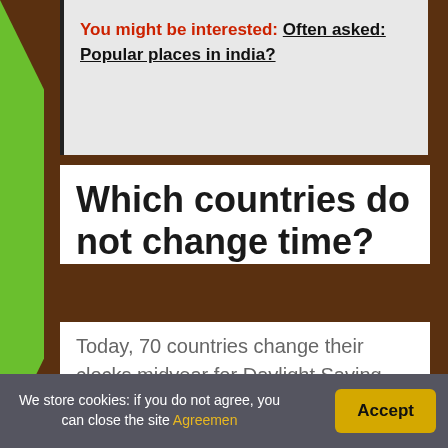You might be interested: Often asked: Popular places in india?
Which countries do not change time?
Today, 70 countries change their clocks midyear for Daylight Saving Time, including most of North America, Europe and parts of South America and New Zealand. China , Japan, India and most countries near the equator don't fall back
We store cookies: if you do not agree, you can close the site Agreemen